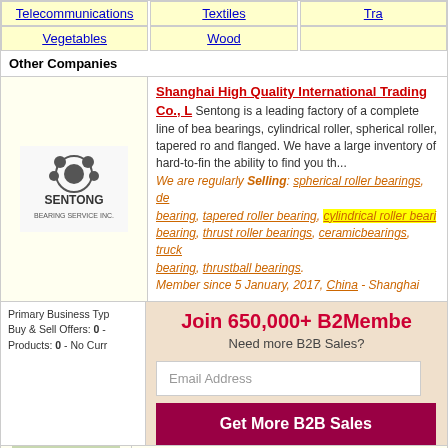Telecommunications | Textiles | Tr...
Vegetables | Wood
Other Companies
[Figure (logo): Sentong Bearing Service Inc logo]
Shanghai High Quality International Trading Co., L... Sentong is a leading factory of a complete line of bearings, cylindrical roller, spherical roller, tapered roller, and flanged. We have a large inventory of hard-to-find... the ability to find you th... We are regularly Selling: spherical roller bearings, de... bearing, tapered roller bearing, cylindrical roller bearing, bearing, thrust roller bearings, ceramicbearings, truck bearing, thrustball bearings. Member since 5 January, 2017, China - Shanghai
Primary Business Type
Buy & Sell Offers: 0 -
Products: 0 - No Curr
Join 650,000+ B2B Members
Need more B2B Sales?
Email Address
Get More B2B Sales
[Figure (photo): Young woman with long dark hair wearing white top]
Primary Business Type
Buy & Sell Offers: